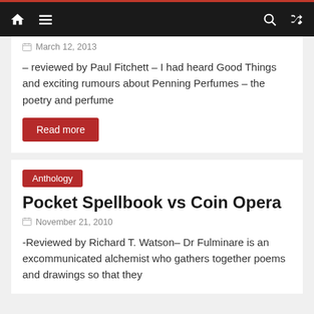Navigation bar with home, menu, search, and shuffle icons
March 12, 2013
– reviewed by Paul Fitchett – I had heard Good Things and exciting rumours about Penning Perfumes – the poetry and perfume
Read more
Anthology
Pocket Spellbook vs Coin Opera
November 21, 2010
-Reviewed by Richard T. Watson– Dr Fulminare is an excommunicated alchemist who gathers together poems and drawings so that they